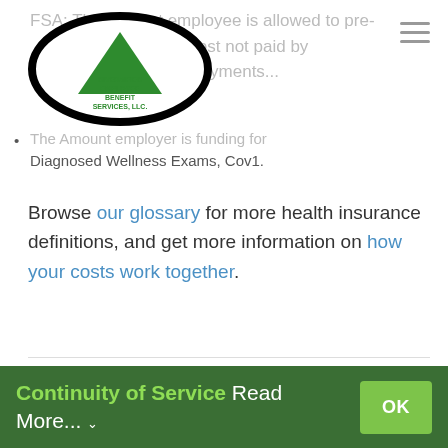[Figure (logo): Diversified Employee Benefit Services LLC logo — green triangle with company name text, inside a thick black oval outline]
FSA: The amount employer is funding for Diagnosed Wellness Exams, Cov1.
Browse our glossary for more health insurance definitions, and get more information on how your costs work together.
By DEBS | December 10th, 2021 | Insurance | Comments Off
Continuity of Service Read More... OK